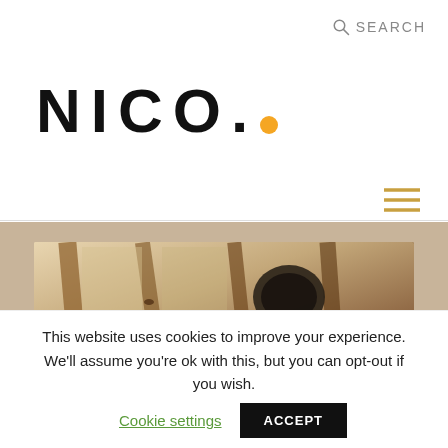SEARCH
NICO.
[Figure (photo): Photo of wooden roof beams with a dark round object (helmet or lamp), viewed from below, warm tones]
This website uses cookies to improve your experience. We'll assume you're ok with this, but you can opt-out if you wish. Cookie settings  ACCEPT